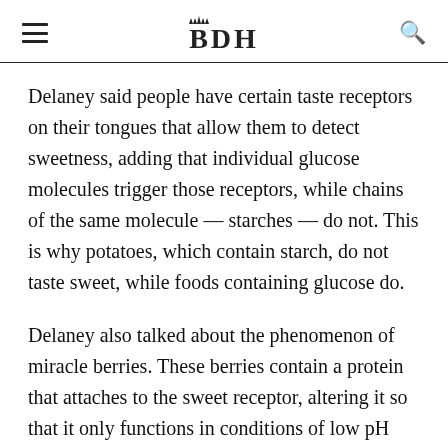BDH
Delaney said people have certain taste receptors on their tongues that allow them to detect sweetness, adding that individual glucose molecules trigger those receptors, while chains of the same molecule — starches — do not. This is why potatoes, which contain starch, do not taste sweet, while foods containing glucose do.
Delaney also talked about the phenomenon of miracle berries. These berries contain a protein that attaches to the sweet receptor, altering it so that it only functions in conditions of low pH when people eat something very acidic. For example, after eating miracle berries, “you can just drink vinegar” because it will taste sweet, she